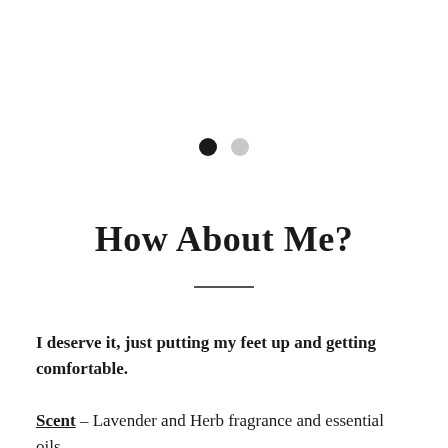[Figure (other): Two navigation dots: one filled black (active), one light gray (inactive)]
How About Me?
I deserve it, just putting my feet up and getting comfortable.
Scent – Lavender and Herb fragrance and essential oils